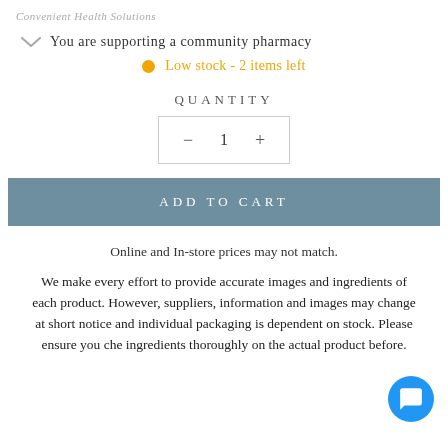Convenient Health Solutions
You are supporting a community pharmacy
Low stock - 2 items left
QUANTITY
— 1 +
ADD TO CART
Online and In-store prices may not match.
We make every effort to provide accurate images and ingredients of each product. However, suppliers, information and images may change at short notice and individual packaging is dependent on stock. Please ensure you che ingredients thoroughly on the actual product before.